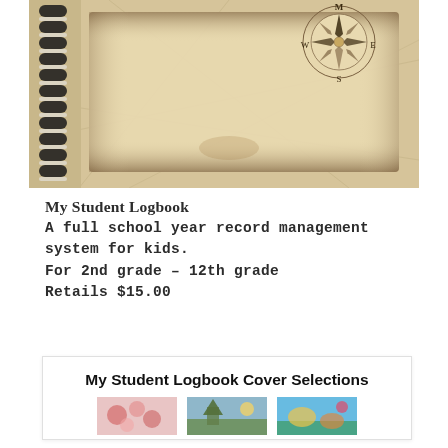[Figure (photo): Photo of a spiral-bound student logbook with a vintage map and compass rose design on the cover, worn parchment/aged paper texture, black and white spiral binding on left side.]
My Student Logbook
A full school year record management system for kids.
For 2nd grade – 12th grade
Retails $15.00
My Student Logbook Cover Selections
[Figure (photo): Three small thumbnail images of different cover designs for the student logbook, shown at the bottom of the cover selections box.]